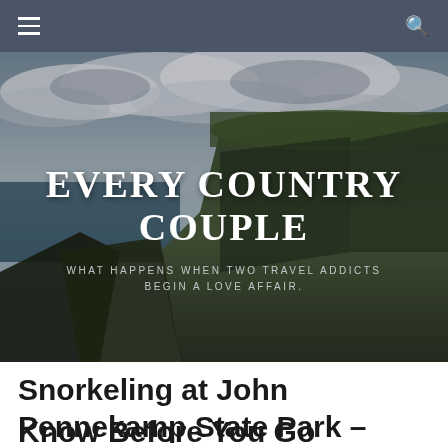Navigation bar with hamburger menu and search icon
[Figure (photo): Scenic landscape photo with dramatic cliffs, ocean in the background, and cloudy sky. Overlaid with the blog title 'EVERY COUNTRY COUPLE' and tagline 'WHAT HAPPENS WHEN TWO TRAVEL ADDICTS BEGIN A LOVE AFFAIR.']
EVERY COUNTRY COUPLE
WHAT HAPPENS WHEN TWO TRAVEL ADDICTS BEGIN A LOVE AFFAIR.
Snorkeling at John Pennekamp State Park –
Know Before You Go